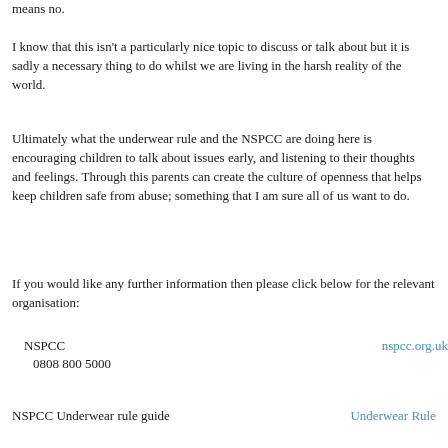means no.
I know that this isn't a particularly nice topic to discuss or talk about but it is sadly a necessary thing to do whilst we are living in the harsh reality of the world.
Ultimately what the underwear rule and the NSPCC are doing here is encouraging children to talk about issues early, and listening to their thoughts and feelings. Through this parents can create the culture of openness that helps keep children safe from abuse; something that I am sure all of us want to do.
If you would like any further information then please click below for the relevant organisation:
NSPCC
   0808 800 5000
nspcc.org.uk
NSPCC Underwear rule guide
Underwear Rule